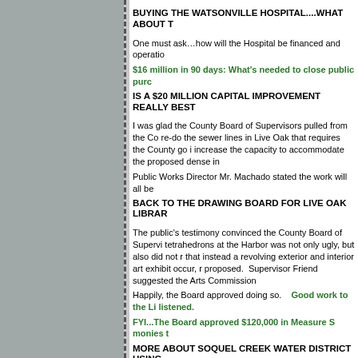BUYING THE WATSONVILLE HOSPITAL....WHAT ABOUT T
One must ask...how will the Hospital be financed and operatio
$16 million in 90 days: What's needed to close public purc
IS A $20 MILLION CAPITAL IMPROVEMENT REALLY BEST
I was glad the County Board of Supervisors pulled from the Co re-do the sewer lines in Live Oak that requires the County go i increase the capacity to accommodate the proposed dense in
Public Works Director Mr. Machado stated the work will all be
BACK TO THE DRAWING BOARD FOR LIVE OAK LIBRAR
The public's testimony convinced the County Board of Supervi tetrahedrons at the Harbor was not only ugly, but also did not r that instead a revolving exterior and interior art exhibit occur, r proposed. Supervisor Friend suggested the Arts Commission
Happily, the Board approved doing so.    Good work to the Li listened.
FYI...The Board approved $120,000 in Measure S monies t
MORE ABOUT SOQUEL CREEK WATER DISTRICT USING
Recently, I wrote about the mess Soquel Creek Water District's public street as a construction staging area, when the District l sits empty. I recommended people contact Mr. Travis Rieber at